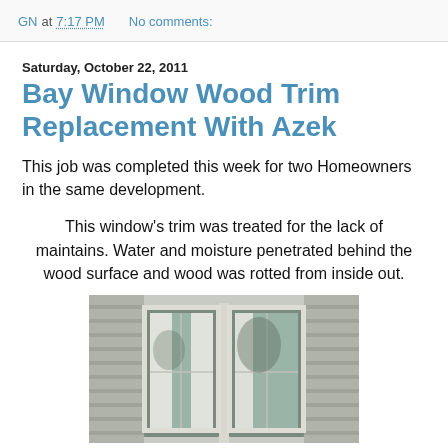GN at 7:17 PM   No comments:
Saturday, October 22, 2011
Bay Window Wood Trim Replacement With Azek
This job was completed this week for two Homeowners in the same development.
This window's trim was treated for the lack of maintains. Water and moisture penetrated behind the wood surface and wood was rotted from inside out.
[Figure (photo): Exterior photo of a bay window with white trim and curtains visible inside, surrounded by beige/grey house siding]